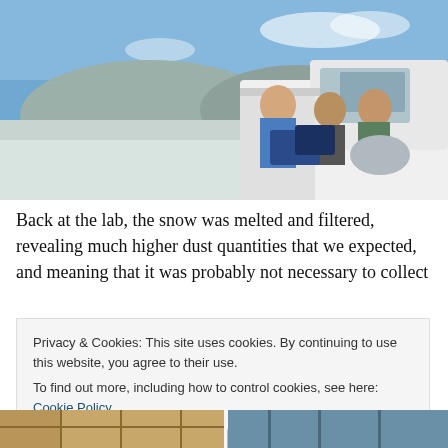[Figure (photo): Three people sitting in the bed of a white pickup truck in a snowy landscape with hills in the background and blue sky. One person on the left wearing a blue jacket, one in the middle, and one on the right wearing sunglasses. Gear and backpacks are visible in the truck bed.]
Back at the lab, the snow was melted and filtered, revealing much higher dust quantities that we expected, and meaning that it was probably not necessary to collect
Privacy & Cookies: This site uses cookies. By continuing to use this website, you agree to their use.
To find out more, including how to control cookies, see here: Cookie Policy
Close and accept
[Figure (photo): Bottom left partial photo showing warm-toned yellowish pattern]
[Figure (photo): Bottom right partial photo showing blue-toned image]